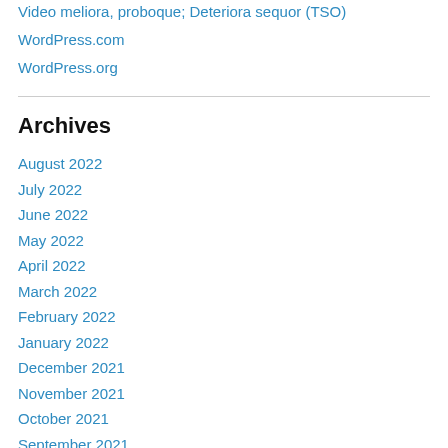Video meliora, proboque; Deteriora sequor (TSO)
WordPress.com
WordPress.org
Archives
August 2022
July 2022
June 2022
May 2022
April 2022
March 2022
February 2022
January 2022
December 2021
November 2021
October 2021
September 2021
August 2021